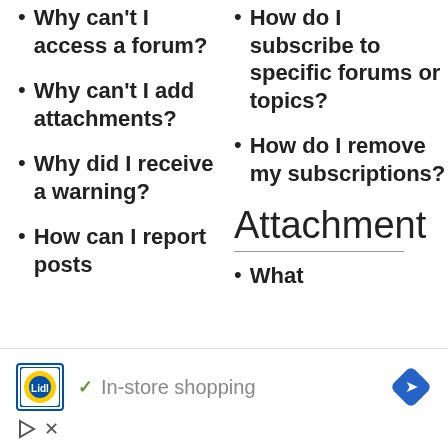Why can't I access a forum?
How do I subscribe to specific forums or topics?
Why can't I add attachments?
How do I remove my subscriptions?
Why did I receive a warning?
Attachment
How can I report posts
What
[Figure (infographic): Advertisement banner for Lidl showing Lidl logo, checkmark, 'In-store shopping' text, and a blue navigation diamond icon, with play and close icons below.]